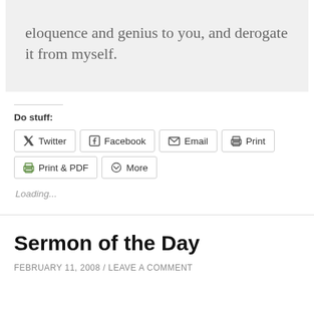eloquence and genius to you, and derogate it from myself.
Do stuff:
[Figure (other): Social share buttons: Twitter, Facebook, Email, Print, Print & PDF, More]
Loading...
Sermon of the Day
FEBRUARY 11, 2008 / LEAVE A COMMENT